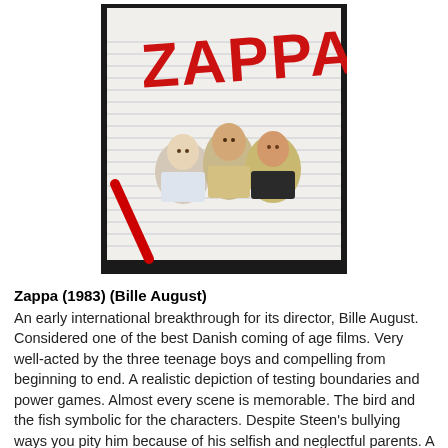[Figure (photo): Movie poster for 'Zappa' (1983). Shows three teenage boys posing together on a lined notebook paper background. The word 'ZAPPA' is written in large red graffiti-style letters at the top.]
Zappa (1983) (Bille August)
An early international breakthrough for its director, Bille August.  Considered one of the best Danish coming of age films. Very well-acted by the three teenage boys and compelling from beginning to end. A realistic depiction of testing boundaries and power games. Almost every scene is memorable. The bird and the fish symbolic for the characters. Despite Steen's bullying ways you pity him because of his selfish and neglectful parents. A tad heavy-handed in how the parents are depicted, yet a powerful story...